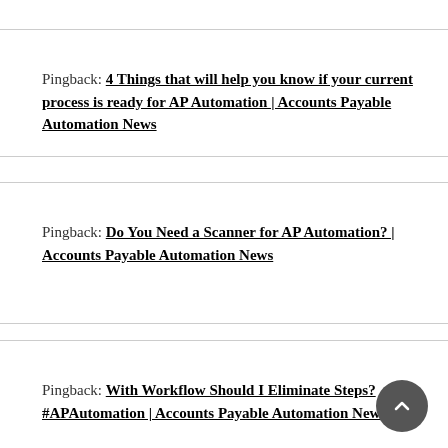Pingback: 4 Things that will help you know if your current process is ready for AP Automation | Accounts Payable Automation News
Pingback: Do You Need a Scanner for AP Automation? | Accounts Payable Automation News
Pingback: With Workflow Should I Eliminate Steps? #APAutomation | Accounts Payable Automation News